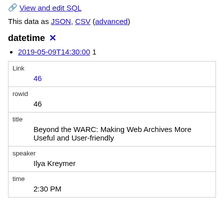🔗 View and edit SQL
This data as JSON, CSV (advanced)
datetime ✕
2019-05-09T14:30:00 1
| Field | Value |
| --- | --- |
| Link | 46 |
| rowid | 46 |
| title | Beyond the WARC: Making Web Archives More Useful and User-friendly |
| speaker | Ilya Kreymer |
| time | 2:30 PM |